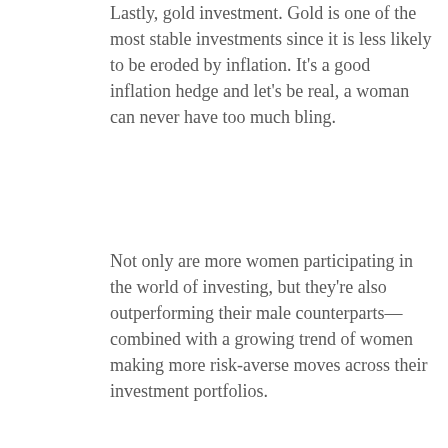Lastly, gold investment. Gold is one of the most stable investments since it is less likely to be eroded by inflation. It's a good inflation hedge and let's be real, a woman can never have too much bling.
Not only are more women participating in the world of investing, but they're also outperforming their male counterparts—combined with a growing trend of women making more risk-averse moves across their investment portfolios.
Now, more platforms are driven to make investing more accessible, including for women—enter digital financing platforms like Funding Societies. With user-friendly features like the Auto Invest bot, career-driven women can now invest at their convenience. Financial independence enables women to pursue an enriched life by achieving financial freedom.